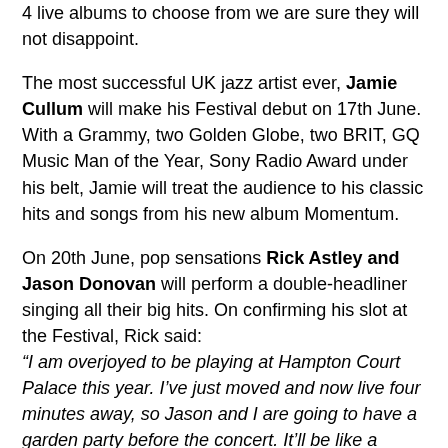4 live albums to choose from we are sure they will not disappoint.
The most successful UK jazz artist ever, Jamie Cullum will make his Festival debut on 17th June. With a Grammy, two Golden Globe, two BRIT, GQ Music Man of the Year, Sony Radio Award under his belt, Jamie will treat the audience to his classic hits and songs from his new album Momentum.
On 20th June, pop sensations Rick Astley and Jason Donovan will perform a double-headliner singing all their big hits. On confirming his slot at the Festival, Rick said: “I am overjoyed to be playing at Hampton Court Palace this year. I’ve just moved and now live four minutes away, so Jason and I are going to have a garden party before the concert. It’ll be like a home gig and the perfect way you start the summer.”